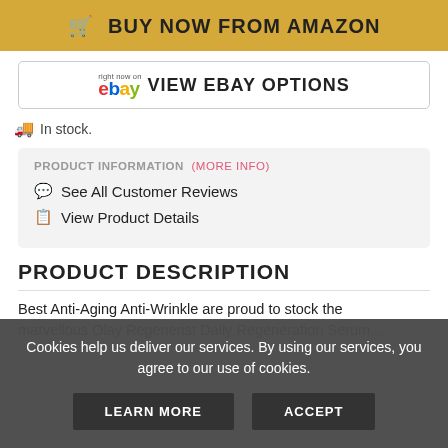🛒 BUY NOW FROM AMAZON
right now on ebay VIEW EBAY OPTIONS
🚚 In stock.
PRODUCT INFORMATION (more info)
💬 See All Customer Reviews
📋 View Product Details
PRODUCT DESCRIPTION
Best Anti-Aging Anti-Wrinkle are proud to stock the marvellous Olay Regenerist Daily Regeneration Serum...
Cookies help us deliver our services. By using our services, you agree to our use of cookies.
LEARN MORE | ACCEPT